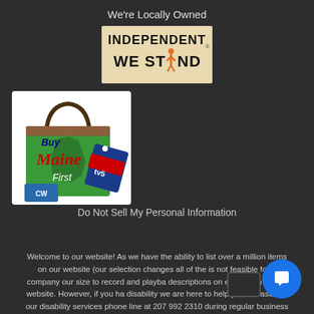We're Locally Owned
[Figure (logo): Independent We Stand logo - beige/tan background with bold black text 'INDEPENDENT WE STAND' and an orange figure standing in place of the 'A' in STAND]
[Figure (logo): Buy Maine First logo - green shopping bag with Maine state silhouette, text 'Buy Maine First' in red/white, WABI TV5 badge, and CW network logo]
Do Not Sell My Personal Information
Welcome to our website! As we have the ability to list over a million items on our website (our selection changes all of the is not feasible for a company our size to record and playba descriptions on every item on our website. However, if you ha disability we are here to help you. Please call our disability services phone line at 207 992 2310 during regular business hours and one of